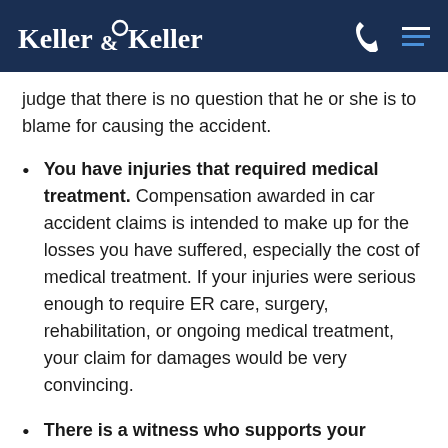Keller & Keller
judge that there is no question that he or she is to blame for causing the accident.
You have injuries that required medical treatment. Compensation awarded in car accident claims is intended to make up for the losses you have suffered, especially the cost of medical treatment. If your injuries were serious enough to require ER care, surgery, rehabilitation, or ongoing medical treatment, your claim for damages would be very convincing.
There is a witness who supports your